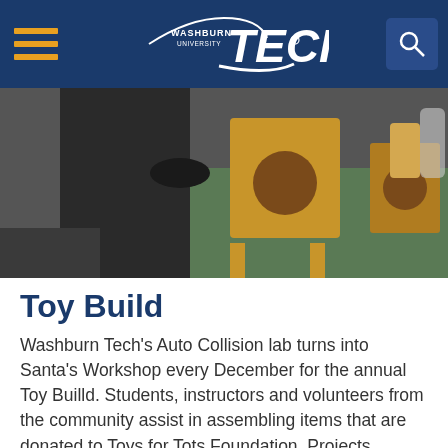Washburn Tech navigation header with logo and hamburger menu
[Figure (photo): A person working at a table with yellow wooden toy structures (boxes with circular holes) being assembled in a workshop setting]
Toy Build
Washburn Tech's Auto Collision lab turns into Santa's Workshop every December for the annual Toy Builld. Students, instructors and volunteers from the community assist in assembling items that are donated to Toys for Tots Foundation. Projects include homemade wooden step stools, hobby horses, beat box drums and yoyos.